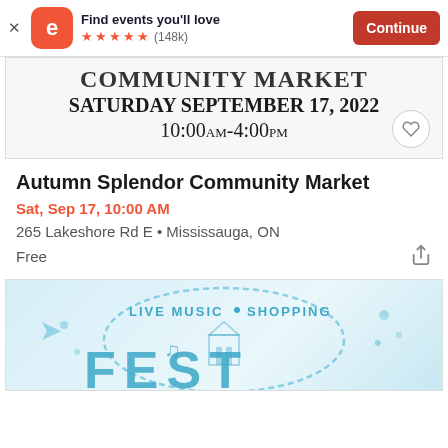Find events you'll love ★★★★★ (148k) Continue
[Figure (screenshot): Event image card showing 'COMMUNITY MARKET SATURDAY SEPTEMBER 17, 2022 10:00AM-4:00PM' in serif font with heart button]
Autumn Splendor Community Market
Sat, Sep 17, 10:00 AM
265 Lakeshore Rd E • Mississauga, ON
Free
[Figure (illustration): Teal/blue stamp-style illustration with text 'LIVE MUSIC • SHOPPING' and partial text 'FEST']